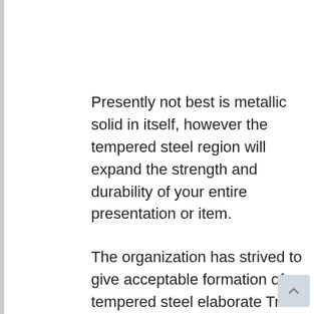Presently not best is metallic solid in itself, however the tempered steel region will expand the strength and durability of your entire presentation or item.
The organization has strived to give acceptable formation of tempered steel elaborate Trim at forceful expenses close by to each individual, from the multimillions – greenback undertaking manufacturers to the end of the week DIY.
The association is specialists in steel and could propose, convey, and exclusively cut materials for a different assortment of development